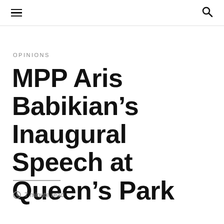☰ 🔍
OPINIONS
MPP Aris Babikian's Inaugural Speech at Queen's Park
7 minute read